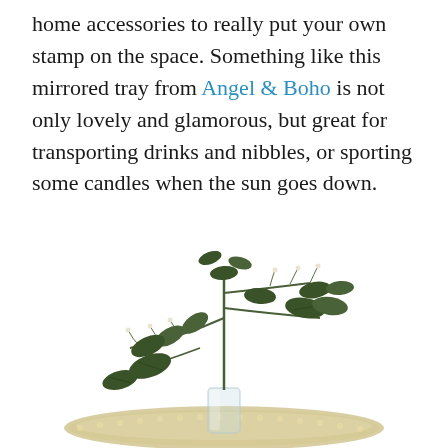home accessories to really put your own stamp on the space. Something like this mirrored tray from Angel & Boho is not only lovely and glamorous, but great for transporting drinks and nibbles, or sporting some candles when the sun goes down.
[Figure (photo): A mirrored decorative tray with a glass vase holding green leafy botanical branches with small white flowers, photographed on a white background.]